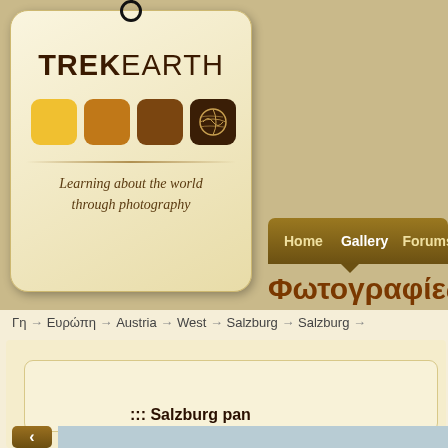[Figure (screenshot): TrekEarth website screenshot showing the logo tag with colored squares and world icon, navigation bar with Home, Gallery, Forums tabs, Greek title Φωτογραφίες, breadcrumb navigation Γη > Ευρώπη > Austria > West > Salzburg > Salzburg, and a photo gallery section with Salzburg panorama title]
Φωτογραφίες
Γη → Ευρώπη → Austria → West → Salzburg → Salzburg →
::: Salzburg pan